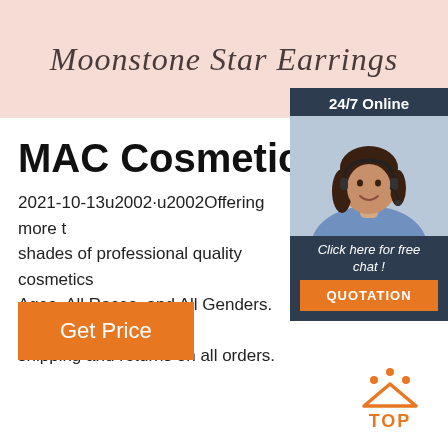Moonstone Star Earrings
[Figure (illustration): Customer support representative with headset, 24/7 Online chat widget with orange QUOTATION button]
MAC Cosmetics
2021-10-13u2002·u2002Offering more than shades of professional quality cosmetics Ages, All Races, and All Genders. Enjoy shipping and returns on all orders.
Get Price
[Figure (logo): TOP back-to-top icon in orange with dots above the word TOP]